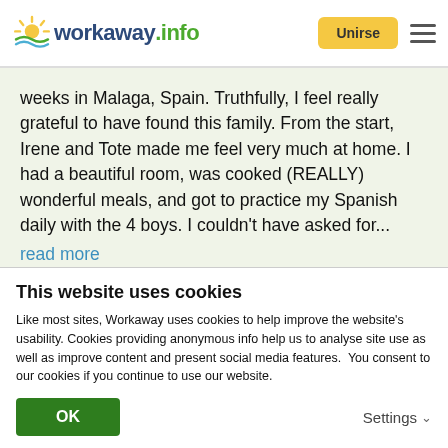[Figure (logo): Workaway.info logo with sun icon and yellow/green coloring, Unirse button and hamburger menu]
weeks in Malaga, Spain. Truthfully, I feel really grateful to have found this family. From the start, Irene and Tote made me feel very much at home. I had a beautiful room, was cooked (REALLY) wonderful meals, and got to practice my Spanish daily with the 4 boys. I couldn't have asked for... read more
[Figure (infographic): Green info circle icon above 5 orange/yellow stars rating]
This website uses cookies
Like most sites, Workaway uses cookies to help improve the website's usability. Cookies providing anonymous info help us to analyse site use as well as improve content and present social media features.  You consent to our cookies if you continue to use our website.
OK
Settings